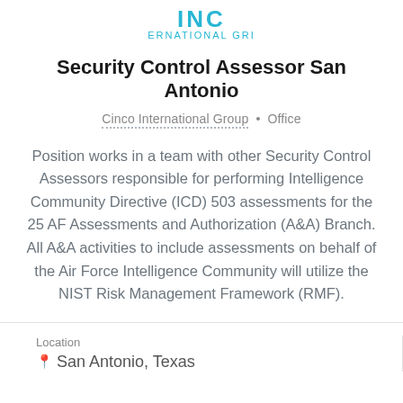[Figure (logo): Cinco International Group partial logo showing 'INC ERNATIONAL GRI' in teal/cyan lettering]
Security Control Assessor San Antonio
Cinco International Group • Office
Position works in a team with other Security Control Assessors responsible for performing Intelligence Community Directive (ICD) 503 assessments for the 25 AF Assessments and Authorization (A&A) Branch. All A&A activities to include assessments on behalf of the Air Force Intelligence Community will utilize the NIST Risk Management Framework (RMF).
Location
San Antonio, Texas